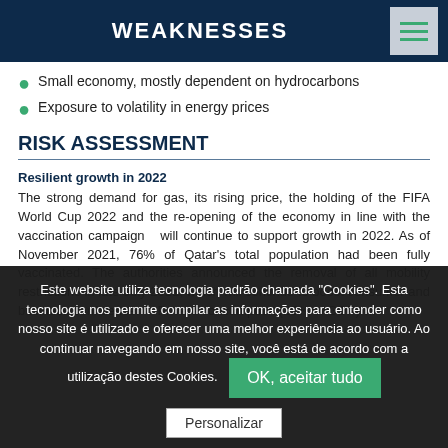WEAKNESSES
Small economy, mostly dependent on hydrocarbons
Exposure to volatility in energy prices
RISK ASSESSMENT
Resilient growth in 2022
The strong demand for gas, its rising price, the holding of the FIFA World Cup 2022 and the re-opening of the economy in line with the vaccination campaign  will continue to support growth in 2022. As of November 2021, 76% of Qatar's total population had been fully vaccinated. The authorities announced the removal of all mobility restrictions in late-July 2021, which will continue to boost consumer and business confidence.   Private consumption (25% of GDP) will
Este website utiliza tecnologia padrão chamada "Cookies". Esta tecnologia nos permite compilar as informações para entender como nosso site é utilizado e oferecer uma melhor experiência ao usuário. Ao continuar navegando em nosso site, você está de acordo com a utilização destes Cookies.
OK, aceitar tudo
Personalizar